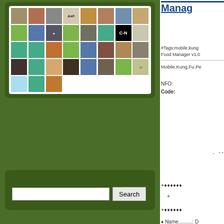[Figure (screenshot): Grid of user avatar thumbnails on dark green background — photos, spiral patterns in green/blue/teal, profile pictures]
Search
Search input field with Search button
Manag
#Tags:mobile,kung Food Manager v1.0
Mobile.Kung.Fu.Pe
NFO:
Code:
. --
+♦♦♦♦♦♦
+
+♦♦♦♦♦♦
♦ Name..........: D